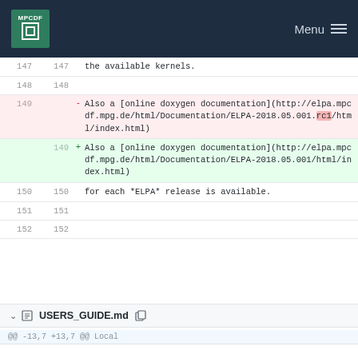MPCDF  Menu
| old | new | diff |
| --- | --- | --- |
| 147 | 147 |   the available kernels. |
| 148 | 148 |  |
| 149 |  | - Also a [online doxygen documentation](http://elpa.mpcdf.mpg.de/html/Documentation/ELPA-2018.05.001.rc1/html/index.html) |
|  | 149 | + Also a [online doxygen documentation](http://elpa.mpcdf.mpg.de/html/Documentation/ELPA-2018.05.001/html/index.html) |
| 150 | 150 |   for each *ELPA* release is available. |
| 151 | 151 |  |
| 152 | 152 |  |
USERS_GUIDE.md
@@ -13,7 +13,7 @@ Local